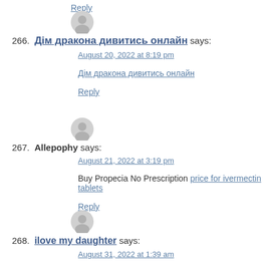Reply
266. Дім дракона дивитись онлайн says:
August 20, 2022 at 8:19 pm
Дім дракона дивитись онлайн
Reply
267. Allepophy says:
August 21, 2022 at 3:19 pm
Buy Propecia No Prescription price for ivermectin tablets
Reply
268. ilove my daughter says:
August 31, 2022 at 1:39 am